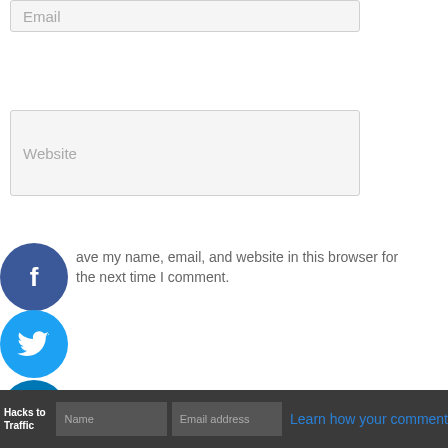[Figure (screenshot): Email input field (placeholder text 'Email') partially visible at top of page]
[Figure (screenshot): Website input field (placeholder text 'Website')]
[Figure (screenshot): Facebook social share button (blue circle with 'f' icon)]
ave my name, email, and website in this browser for the next time I comment.
[Figure (screenshot): Twitter social share button (blue circle with bird icon)]
[Figure (screenshot): LinkedIn social share button (dark blue circle with 'in' icon)]
Notify me of follow-up comments by email.
[Figure (screenshot): Pinterest social share button (red circle with 'P' icon)]
Notify me of new posts by email.
[Figure (screenshot): Post Comment » button (blue rectangle)]
Hacks to Traffic — Name — Email address — Learn how your comment